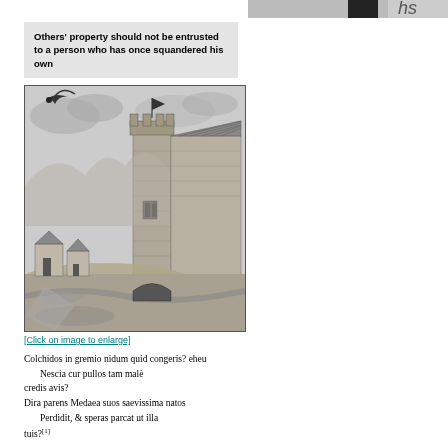[Figure (other): Partial image visible at top right corner, dark/black and white partial view]
Others' property should not be entrusted to a person who has once squandered his own
[Figure (illustration): Woodcut illustration of a medieval tower/castle scene with buildings, landscape, a bird flying, and a flag on top of the tower]
[Click on image to enlarge]
Colchidos in gremio nidum quid congeris? eheu
   Nescia cur pullos tam male credis avis?
Dira parens Medaea suos saevissima natos
   Perdidit, & speras parcat ut illa tuis?[1]